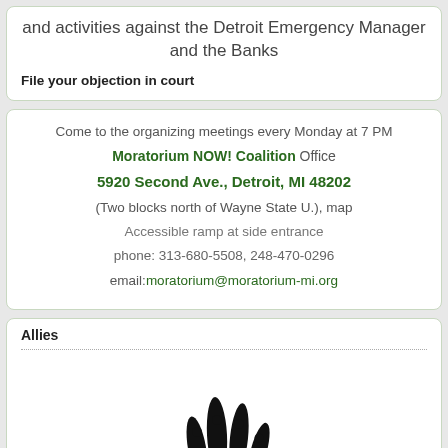and activities against the Detroit Emergency Manager and the Banks
File your objection in court
Come to the organizing meetings every Monday at 7 PM
Moratorium NOW! Coalition Office
5920 Second Ave., Detroit, MI 48202
(Two blocks north of Wayne State U.), map
Accessible ramp at side entrance
phone: 313-680-5508, 248-470-0296
email:moratorium@moratorium-mi.org
Allies
[Figure (logo): Detroiters Resisting Emergency Management hand logo - black raised fist/hand silhouette with text 'Detroiters Resisting Emergency Management']